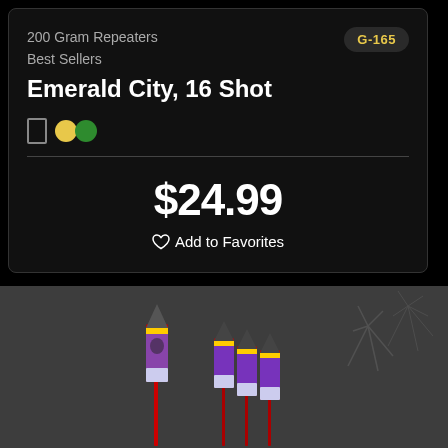200 Gram Repeaters
Best Sellers
G-165
Emerald City, 16 Shot
$24.99
Add to Favorites
[Figure (photo): Product photo of firework rocket tubes with colorful packaging showing a character, multiple rockets grouped together on a dark background]